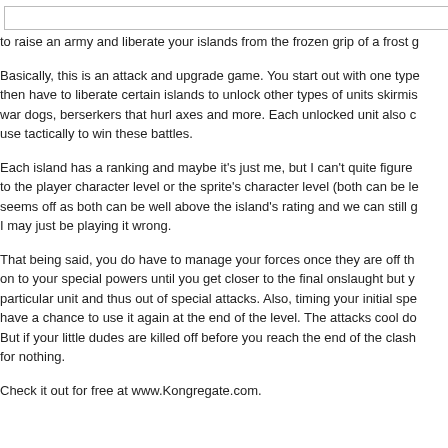In 'Frozen Islan
to raise an army and liberate your islands from the frozen grip of a frost g
Basically, this is an attack and upgrade game. You start out with one type then have to liberate certain islands to unlock other types of units skirmis war dogs, berserkers that hurl axes and more. Each unlocked unit also c use tactically to win these battles.
Each island has a ranking and maybe it's just me, but I can't quite figure to the player character level or the sprite's character level (both can be le seems off as both can be well above the island's rating and we can still g I may just be playing it wrong.
That being said, you do have to manage your forces once they are off the on to your special powers until you get closer to the final onslaught but y particular unit and thus out of special attacks. Also, timing your initial spe have a chance to use it again at the end of the level. The attacks cool do But if your little dudes are killed off before you reach the end of the clash for nothing.
Check it out for free at www.Kongregate.com.